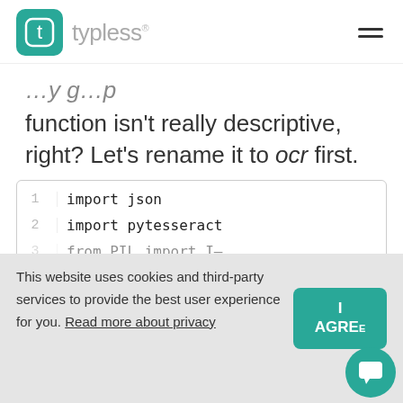typless
function isn't really descriptive, right? Let's rename it to ocr first.
1  import json
2  import pytesseract
3  from ...
This website uses cookies and third-party services to provide the best user experience for you. Read more about privacy